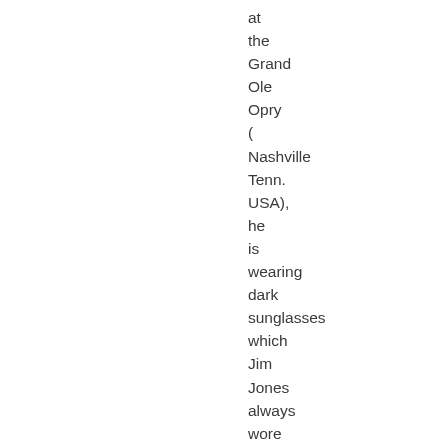at the Grand Ole Opry (Nashville Tenn. USA), he is wearing dark sunglasses which Jim Jones always wore because of drug abuse. In Tony